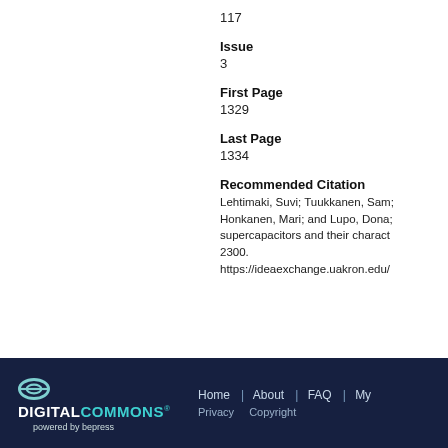117
Issue
3
First Page
1329
Last Page
1334
Recommended Citation
Lehtimaki, Suvi; Tuukkanen, Sam; Honkanen, Mari; and Lupo, Dona; supercapacitors and their charact; 2300. https://ideaexchange.uakron.edu/
DIGITAL COMMONS® powered by bepress  Home | About | FAQ | My  Privacy   Copyright